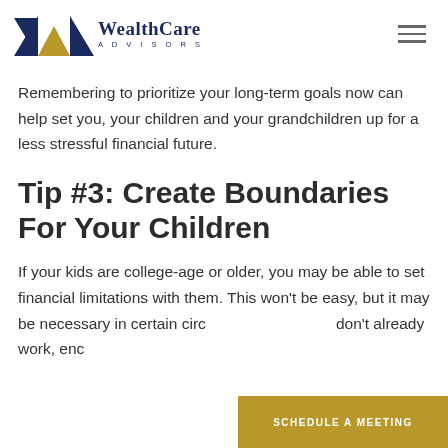WealthCare Advisors
Remembering to prioritize your long-term goals now can help set you, your children and your grandchildren up for a less stressful financial future.
Tip #3: Create Boundaries For Your Children
If your kids are college-age or older, you may be able to set financial limitations with them. This won't be easy, but it may be necessary in certain circ… don't already work, enc…